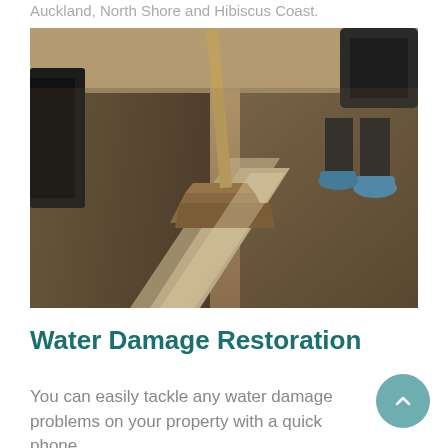Auckland, North Shore and Hibiscus Coast.
[Figure (photo): A carpet cleaning machine extracting dirty water from a wet carpet, showing a clean strip being created amid dark, damp carpet. A person wearing blue shoe covers is visible in the background along with cleaning equipment.]
Water Damage Restoration
You can easily tackle any water damage problems on your property with a quick phone